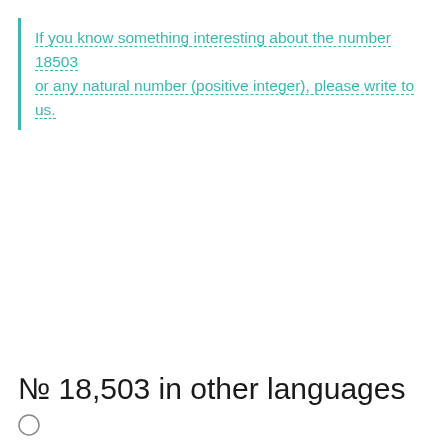If you know something interesting about the number 18503 or any natural number (positive integer), please write to us.
№ 18,503 in other languages